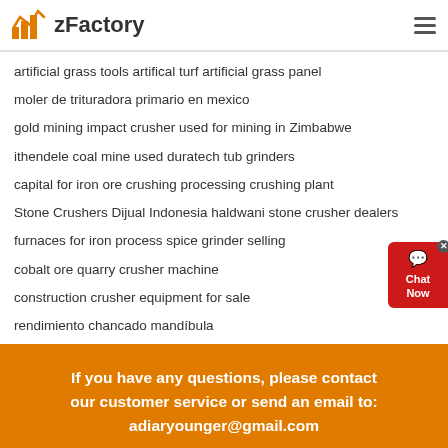zFactory
artificial grass tools artifical turf artificial grass panel
moler de trituradora primario en mexico
gold mining impact crusher used for mining in Zimbabwe
ithendele coal mine used duratech tub grinders
capital for iron ore crushing processing crushing plant
Stone Crushers Dijual Indonesia haldwani stone crusher dealers
furnaces for iron process spice grinder selling
cobalt ore quarry crusher machine
construction crusher equipment for sale
rendimiento chancado mandíbula
If you have any questions, please contact our customer service or send an email to: adiaryounger@gmail.com